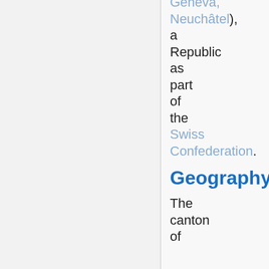Geneva, Neuchâtel), a Republic as part of the Swiss Confederation.
Geography
The canton of